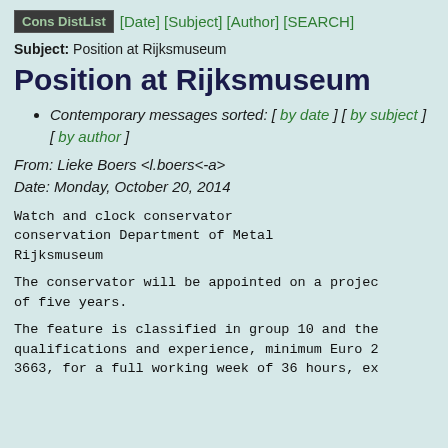Cons DistList [Date] [Subject] [Author] [SEARCH]
Subject: Position at Rijksmuseum
Position at Rijksmuseum
Contemporary messages sorted: [ by date ] [ by subject ] [ by author ]
From: Lieke Boers <l.boers<-a>
Date: Monday, October 20, 2014
Watch and clock conservator conservation Department of Metal Rijksmuseum
The conservator will be appointed on a project of five years.
The feature is classified in group 10 and the qualifications and experience, minimum Euro 2 3663, for a full working week of 36 hours, ex...